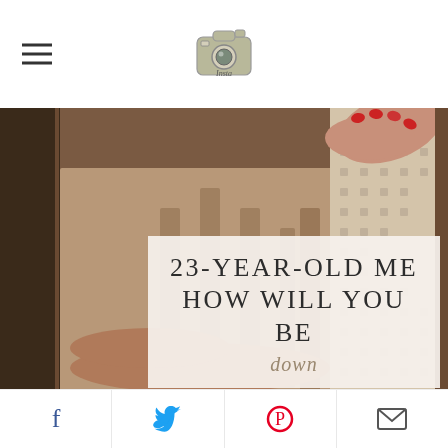Insta [logo icon]
[Figure (photo): Close-up photo of a person wearing and holding a knit sweater/blanket, with hands visible showing red nail polish. Warm beige and brown tones.]
23-YEAR-OLD ME HOW WILL YOU BE
Social share icons: Facebook, Twitter, Pinterest, Email